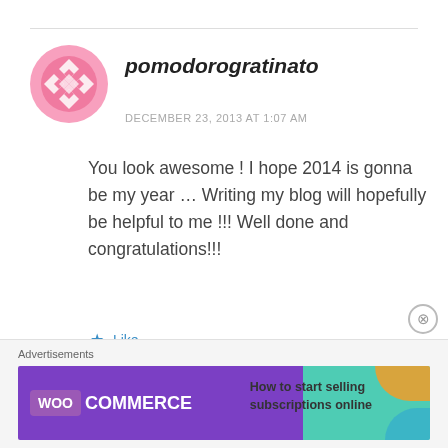[Figure (illustration): Pink geometric/floral avatar icon for user pomodorogratinato]
pomodorogratinato
DECEMBER 23, 2013 AT 1:07 AM
You look awesome ! I hope 2014 is gonna be my year … Writing my blog will hopefully be helpful to me !!! Well done and congratulations!!!
★ Like
[Figure (illustration): WooCommerce advertisement banner: How to start selling subscriptions online]